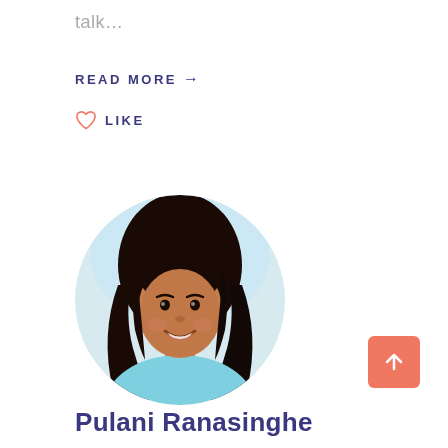talk...
READ MORE →
♡ LIKE
[Figure (photo): Circular portrait photo of Pulani Ranasinghe, a young woman with long dark hair, smiling, wearing a light blue top, photographed outdoors with a bright background.]
↑ (back to top button)
Pulani Ranasinghe